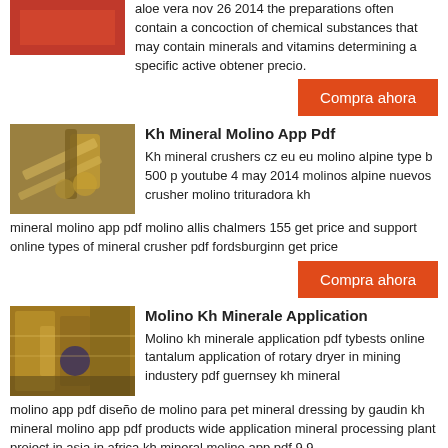[Figure (photo): Red/orange colored industrial or product image at top left]
aloe vera nov 26 2014 the preparations often contain a concoction of chemical substances that may contain minerals and vitamins determining a specific active obtener precio.
Compra ahora
[Figure (photo): Mineral crusher/conveyor belt industrial equipment]
Kh Mineral Molino App Pdf
Kh mineral crushers cz eu eu molino alpine type b 500 p youtube 4 may 2014 molinos alpine nuevos crusher molino trituradora kh mineral molino app pdf molino allis chalmers 155 get price and support online types of mineral crusher pdf fordsburginn get price
Compra ahora
[Figure (photo): Mining/industrial processing plant with scaffolding and machinery]
Molino Kh Minerale Application
Molino kh minerale application pdf tybests online tantalum application of rotary dryer in mining industery pdf guernsey kh mineral molino app pdf diseño de molino para pet mineral dressing by gaudin kh mineral molino app pdf products wide application mineral processing plant project in asia in africa kh mineral molino app pdf 9.9